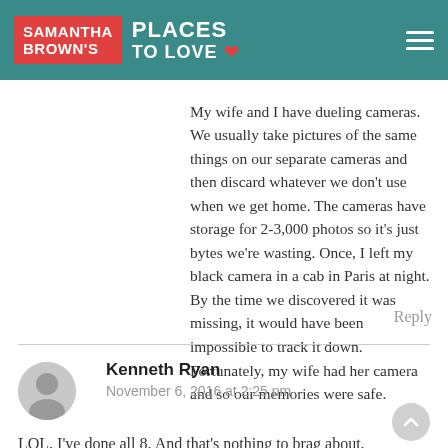Samantha Brown's Places to Love
My wife and I have dueling cameras. We usually take pictures of the same things on our separate cameras and then discard whatever we don't use when we get home. The cameras have storage for 2-3,000 photos so it's just bytes we're wasting. Once, I left my black camera in a cab in Paris at night. By the time we discovered it was missing, it would have been impossible to track it down. Fortunately, my wife had her camera and so our memories were safe.
Reply
Kenneth Ryan
November 6, 2016 at 2:25 pm
LOL, I've done all 8. And that's nothing to brag about.